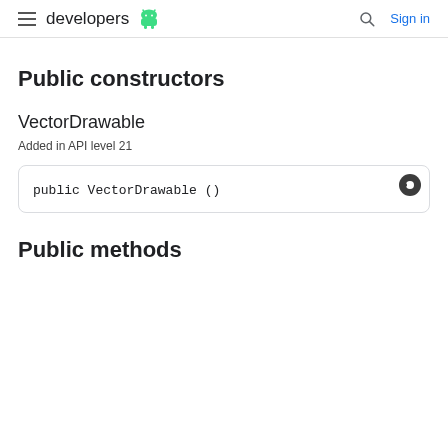developers  Sign in
Public constructors
VectorDrawable
Added in API level 21
public VectorDrawable ()
Public methods